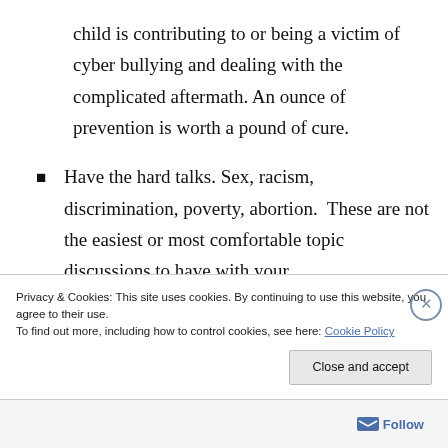child is contributing to or being a victim of cyber bullying and dealing with the complicated aftermath. An ounce of prevention is worth a pound of cure.
Have the hard talks. Sex, racism, discrimination, poverty, abortion.  These are not the easiest or most comfortable topic discussions to have with your
Privacy & Cookies: This site uses cookies. By continuing to use this website, you agree to their use.
To find out more, including how to control cookies, see here: Cookie Policy